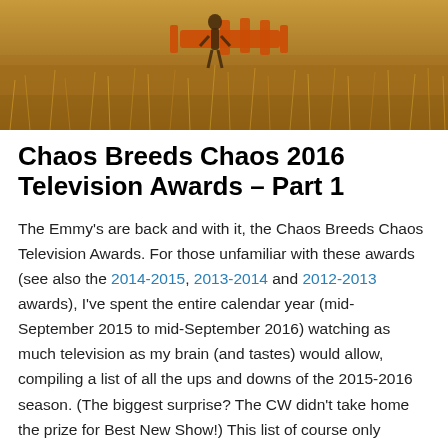[Figure (photo): Outdoor scene with farm equipment (orange/red machinery) being pulled through dry golden grass fields, person visible in background]
Chaos Breeds Chaos 2016 Television Awards – Part 1
The Emmy's are back and with it, the Chaos Breeds Chaos Television Awards. For those unfamiliar with these awards (see also the 2014-2015, 2013-2014 and 2012-2013 awards), I've spent the entire calendar year (mid-September 2015 to mid-September 2016) watching as much television as my brain (and tastes) would allow, compiling a list of all the ups and downs of the 2015-2016 season. (The biggest surprise? The CW didn't take home the prize for Best New Show!) This list of course only covers those shows I watched, so if you've seen